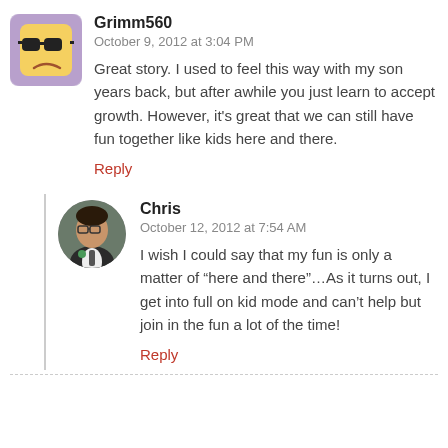[Figure (illustration): Emoji-style avatar: yellow face with sunglasses and frown on purple/lavender background, rounded square shape]
Grimm560
October 9, 2012 at 3:04 PM
Great story. I used to feel this way with my son years back, but after awhile you just learn to accept growth. However, it's great that we can still have fun together like kids here and there.
Reply
[Figure (photo): Circular photo of a man in a suit with a flower boutonniere, appears to be at a formal event]
Chris
October 12, 2012 at 7:54 AM
I wish I could say that my fun is only a matter of “here and there”…As it turns out, I get into full on kid mode and can’t help but join in the fun a lot of the time!
Reply